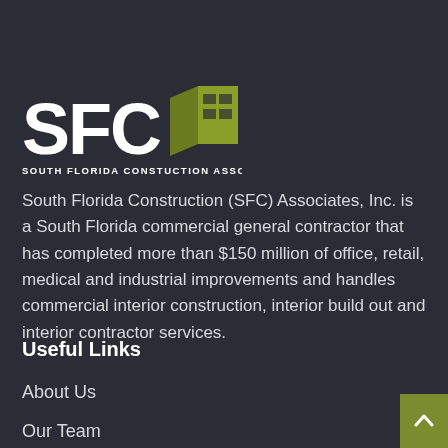[Figure (logo): SFC South Florida Construction Associates logo with olive/green building icon and bold white SFC text]
South Florida Construction (SFC) Associates, Inc. is a South Florida commercial general contractor that has completed more than $150 million of office, retail, medical and industrial improvements and handles commercial interior construction, interior build out and interior contractor services.
Useful Links
About Us
Our Team